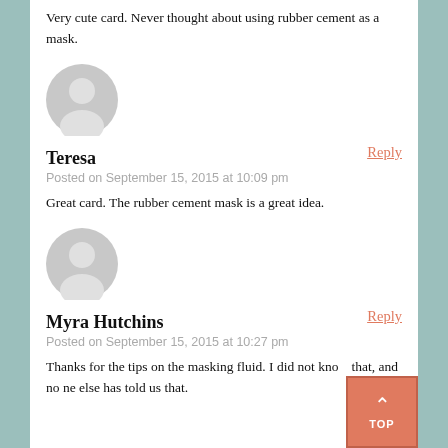Very cute card. Never thought about using rubber cement as a mask.
[Figure (illustration): Default user avatar - grey circle with person silhouette]
Teresa
Posted on September 15, 2015 at 10:09 pm
Reply
Great card. The rubber cement mask is a great idea.
[Figure (illustration): Default user avatar - grey circle with person silhouette]
Myra Hutchins
Posted on September 15, 2015 at 10:27 pm
Reply
Thanks for the tips on the masking fluid. I did not know that, and no ne else has told us that.